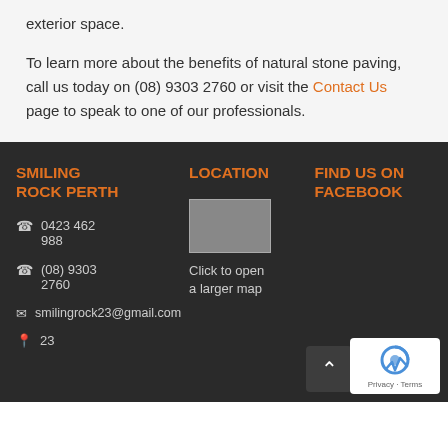exterior space.
To learn more about the benefits of natural stone paving, call us today on (08) 9303 2760 or visit the Contact Us page to speak to one of our professionals.
SMILING ROCK PERTH
LOCATION
FIND US ON FACEBOOK
0423 462 988
(08) 9303 2760
smilingrock23@gmail.com
23
[Figure (map): Click to open a larger map - embedded Google Maps placeholder]